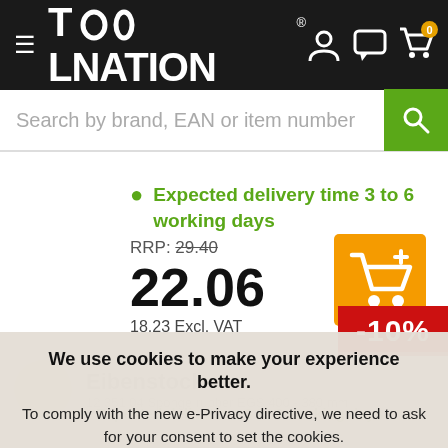TOOLNATION
Search by brand, EAN or item number
Expected delivery time 3 to 6 working days
RRP: 29.40
22.06
18.23 Excl. VAT
[Figure (illustration): Orange add-to-cart button with shopping cart icon and plus sign]
-10%
Eibenstock
12 351 04 Sponge rubber EGS 400 - 380 mm
We use cookies to make your experience better. To comply with the new e-Privacy directive, we need to ask for your consent to set the cookies. Learn more. ✓